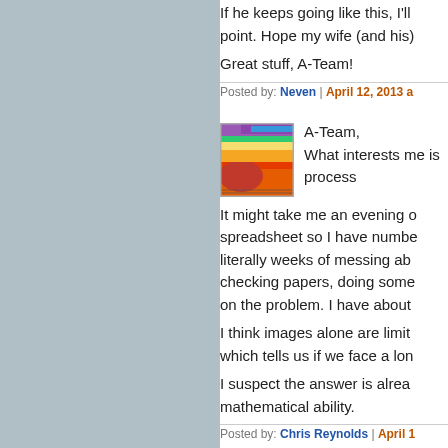If he keeps going like this, I'll point. Hope my wife (and his)
Great stuff, A-Team!
Posted by: Neven | April 12, 2013 a
[Figure (photo): Avatar image showing a heat map / colorful scientific visualization]
A-Team,
What interests me is process
It might take me an evening o... spreadsheet so I have numbe... literally weeks of messing ab... checking papers, doing some... on the problem. I have about
I think images alone are limit... which tells us if we face a lon
I suspect the answer is alrea... mathematical ability.
Posted by: Chris Reynolds | April 1
[Figure (photo): Avatar image showing a green geometric/grid pattern]
Chris,